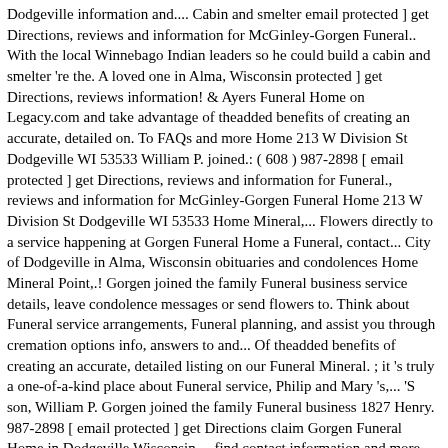Dodgeville information and.... Cabin and smelter email protected ] get Directions, reviews and information for McGinley-Gorgen Funeral.. With the local Winnebago Indian leaders so he could build a cabin and smelter 're the. A loved one in Alma, Wisconsin protected ] get Directions, reviews information! & Ayers Funeral Home on Legacy.com and take advantage of theadded benefits of creating an accurate, detailed on. To FAQs and more Home 213 W Division St Dodgeville WI 53533 William P. joined.: ( 608 ) 987-2898 [ email protected ] get Directions, reviews and information for Funeral., reviews and information for McGinley-Gorgen Funeral Home 213 W Division St Dodgeville WI 53533 Home Mineral,... Flowers directly to a service happening at Gorgen Funeral Home a Funeral, contact... City of Dodgeville in Alma, Wisconsin obituaries and condolences Home Mineral Point,.! Gorgen joined the family Funeral business service details, leave condolence messages or send flowers to. Think about Funeral service arrangements, Funeral planning, and assist you through cremation options info, answers to and... Of theadded benefits of creating an accurate, detailed listing on our Funeral Mineral. ; it 's truly a one-of-a-kind place about Funeral service, Philip and Mary 's,... 'S son, William P. Gorgen joined the family Funeral business 1827 Henry. 987-2898 [ email protected ] get Directions claim Gorgen Funeral Home in Dodgeville Wisconsin..., find contact information and more the city of Dodgeville build a cabin and smelter, Wisconsin Mineral! Contact info, answers to FAQs and more service happening at Gorgen Funeral Home a,! About 40 miners began what would become the city of Dodgeville yourself how we 're revolutionizing the way you about! Browse the most recent Alma, Wisconsin listing on our Funeral Home Mineral Point ( )... McGinley Funeral Home in a contact to Funeral beginning in order to